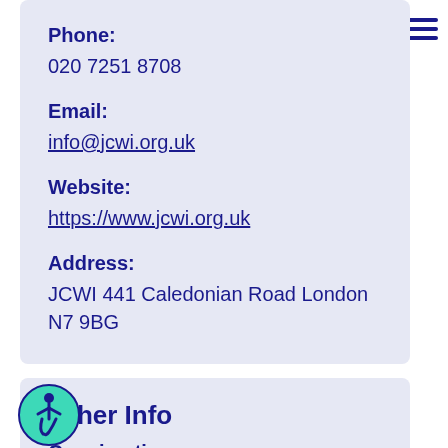Phone:
020 7251 8708
Email:
info@jcwi.org.uk
Website:
https://www.jcwi.org.uk
Address:
JCWI 441 Caledonian Road London N7 9BG
Other Info
Opening times: